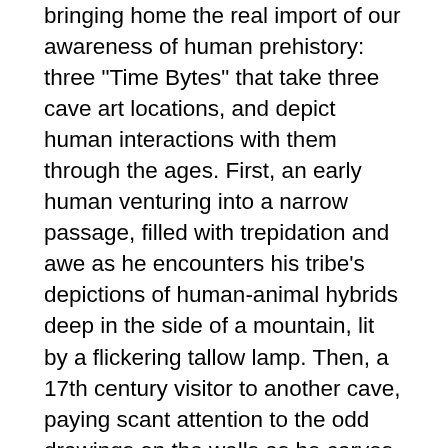bringing home the real import of our awareness of human prehistory: three "Time Bytes" that take three cave art locations, and depict human interactions with them through the ages. First, an early human venturing into a narrow passage, filled with trepidation and awe as he encounters his tribe's depictions of human-animal hybrids deep in the side of a mountain, lit by a flickering tallow lamp. Then, a 17th century visitor to another cave, paying scant attention to the odd drawings on the walls as he carves his name and the date into the rock. Finally, a group of friends in 1994, searching for cave art in France, stumble into what came to be known as the Chauvet Cave—and quickly come to feel that they were "disturbing" the spirits of the prehistoric artists who created what surrounded them.
The author's point—which has never struck me with